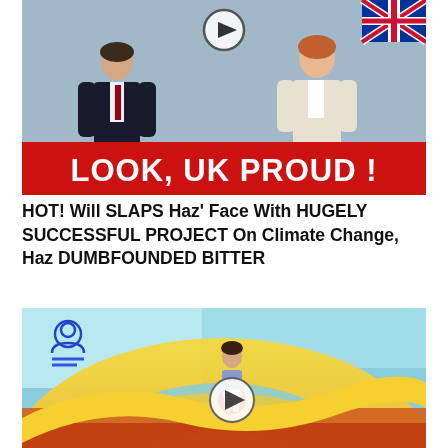[Figure (photo): Two men in suits (one in dark suit with tie, one in light suit) with a red banner overlay reading 'LOOK, UK PROUD!' and a play button icon at top center. UK flag visible in corner.]
HOT! Will SLAPS Haz' Face With HUGELY SUCCESSFUL PROJECT On Climate Change, Haz DUMBFOUNDED BITTER
[Figure (photo): A person standing on a red platform on a large yellow spiral water slide structure, with blue and orange background. A play button icon overlaid in center. User/profile icon visible in top left corner.]